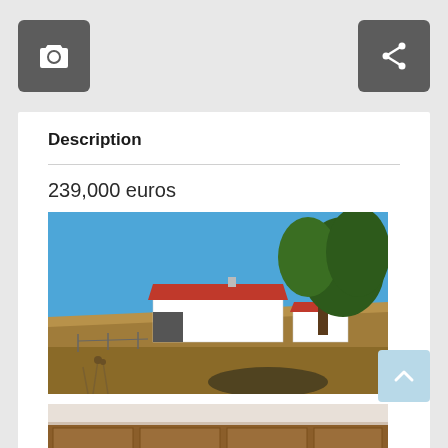[Figure (screenshot): Camera icon button (dark grey rounded square) on the left]
[Figure (screenshot): Share icon button (dark grey rounded square) on the right]
Description
239,000 euros
[Figure (photo): Exterior photo of a white farmhouse with red tile roof on a dry hillside with a large tree, under a clear blue sky]
[Figure (photo): Partial interior photo showing wooden cabinetry]
[Figure (screenshot): Scroll-to-top button (light blue rounded square with upward chevron)]